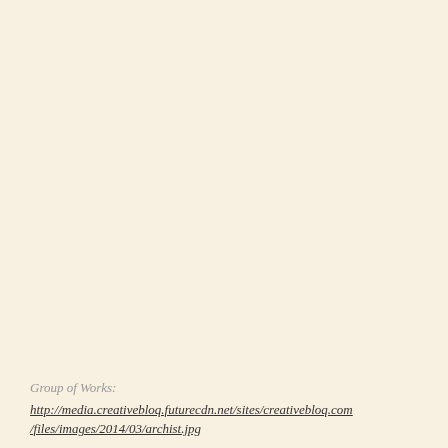Group of Works:
http://media.creativebloq.futurecdn.net/sites/creativebloq.com/files/images/2014/03/archist.jpg